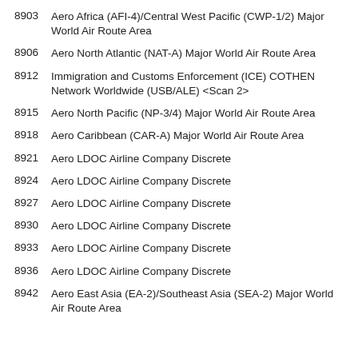8903    Aero Africa (AFI-4)/Central West Pacific (CWP-1/2) Major World Air Route Area
8906    Aero North Atlantic (NAT-A) Major World Air Route Area
8912    Immigration and Customs Enforcement (ICE) COTHEN Network Worldwide (USB/ALE) <Scan 2>
8915    Aero North Pacific (NP-3/4) Major World Air Route Area
8918    Aero Caribbean (CAR-A) Major World Air Route Area
8921    Aero LDOC Airline Company Discrete
8924    Aero LDOC Airline Company Discrete
8927    Aero LDOC Airline Company Discrete
8930    Aero LDOC Airline Company Discrete
8933    Aero LDOC Airline Company Discrete
8936    Aero LDOC Airline Company Discrete
8942    Aero East Asia (EA-2)/Southeast Asia (SEA-2) Major World Air Route Area